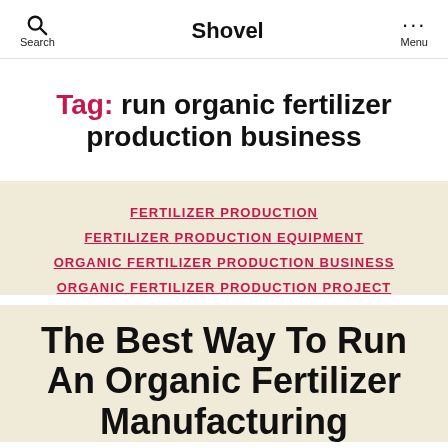Search | Shovel | Menu
Tag: run organic fertilizer production business
FERTILIZER PRODUCTION
FERTILIZER PRODUCTION EQUIPMENT
ORGANIC FERTILIZER PRODUCTION BUSINESS
ORGANIC FERTILIZER PRODUCTION PROJECT
The Best Way To Run An Organic Fertilizer Manufacturing